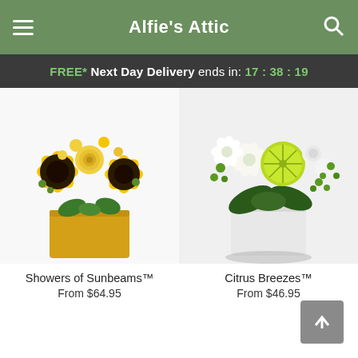Alfie's Attic
FREE* Next Day Delivery ends in: 17 : 38 : 19
[Figure (photo): Yellow sunflower bouquet in a golden yellow square vase — Showers of Sunbeams™]
Showers of Sunbeams™
From $64.95
[Figure (photo): White flowers and lime/green berry arrangement in a white square vase — Citrus Breezes™]
Citrus Breezes™
From $46.95